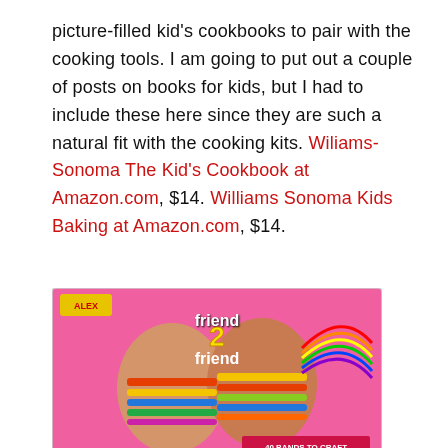picture-filled kid's cookbooks to pair with the cooking tools. I am going to put out a couple of posts on books for kids, but I had to include these here since they are such a natural fit with the cooking kits. Wiliams-Sonoma The Kid's Cookbook at Amazon.com, $14. Williams Sonoma Kids Baking at Amazon.com, $14.
[Figure (photo): A colorful pink box for 'Alex Friend 2 Friend' friendship bracelet craft kit, showing two wrists with colorful woven bracelets.]